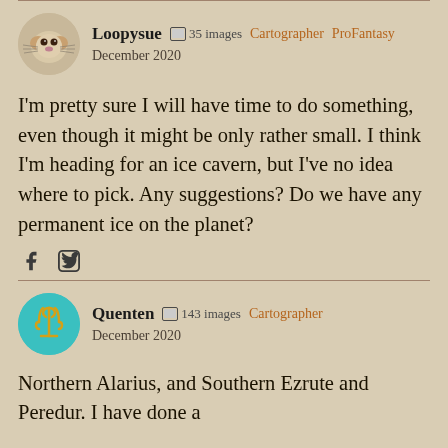Loopysue  35 images  Cartographer  ProFantasy  December 2020
I'm pretty sure I will have time to do something, even though it might be only rather small. I think I'm heading for an ice cavern, but I've no idea where to pick. Any suggestions? Do we have any permanent ice on the planet?
Quenten  143 images  Cartographer  December 2020
Northern Alarius, and Southern Ezrute and Peredur. I have done a